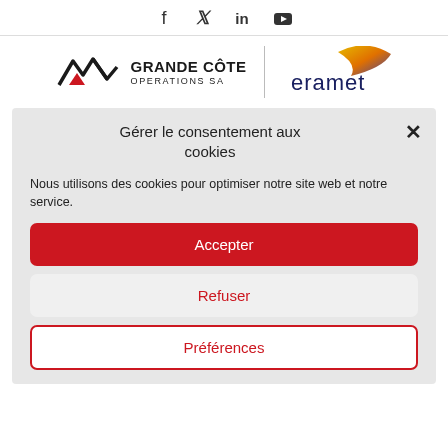[Figure (infographic): Social media icons: Facebook, Twitter, LinkedIn, YouTube]
[Figure (logo): Grande Côte Operations SA logo combined with Eramet logo]
Gérer le consentement aux cookies
Nous utilisons des cookies pour optimiser notre site web et notre service.
Accepter
Refuser
Préférences